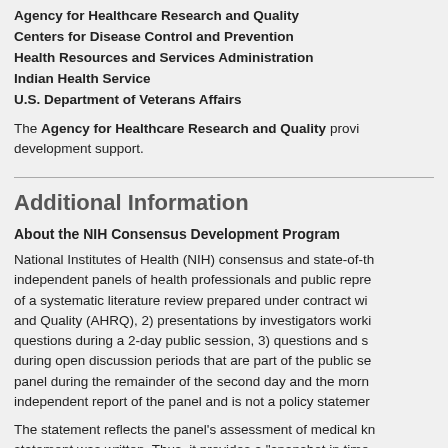Agency for Healthcare Research and Quality
Centers for Disease Control and Prevention
Health Resources and Services Administration
Indian Health Service
U.S. Department of Veterans Affairs
The Agency for Healthcare Research and Quality provided development support.
Additional Information
About the NIH Consensus Development Program
National Institutes of Health (NIH) consensus and state-of-th independent panels of health professionals and public repre of a systematic literature review prepared under contract wi and Quality (AHRQ), 2) presentations by investigators worki questions during a 2-day public session, 3) questions and s during open discussion periods that are part of the public se panel during the remainder of the second day and the morn independent report of the panel and is not a policy statemer
The statement reflects the panel's assessment of medical k statement was written. Thus, it provides a "snapshot in time conference topic. When reading the statement, keep in min